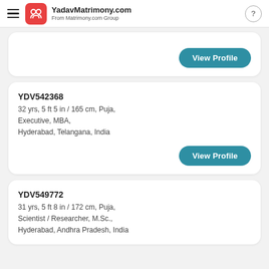YadavMatrimony.com — From Matrimony.com Group
View Profile
YDV542368
32 yrs, 5 ft 5 in / 165 cm, Puja,
Executive, MBA,
Hyderabad, Telangana, India
View Profile
YDV549772
31 yrs, 5 ft 8 in / 172 cm, Puja,
Scientist / Researcher, M.Sc.,
Hyderabad, Andhra Pradesh, India